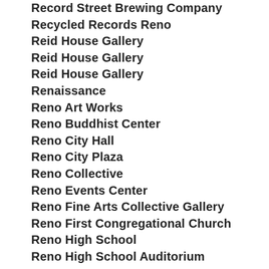Record Street Brewing Company
Recycled Records Reno
Reid House Gallery
Reid House Gallery
Reid House Gallery
Renaissance
Reno Art Works
Reno Buddhist Center
Reno City Hall
Reno City Plaza
Reno Collective
Reno Events Center
Reno Fine Arts Collective Gallery
Reno First Congregational Church
Reno High School
Reno High School Auditorium
Reno Improv
Reno Little Theater
Reno Town Mall
Reno Town Mall